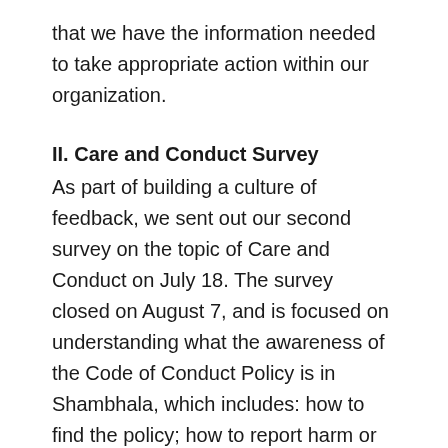that we have the information needed to take appropriate action within our organization.
II. Care and Conduct Survey
As part of building a culture of feedback, we sent out our second survey on the topic of Care and Conduct on July 18. The survey closed on August 7, and is focused on understanding what the awareness of the Code of Conduct Policy is in Shambhala, which includes: how to find the policy; how to report harm or misconduct; and an opportunity to give feedback on the experience of going